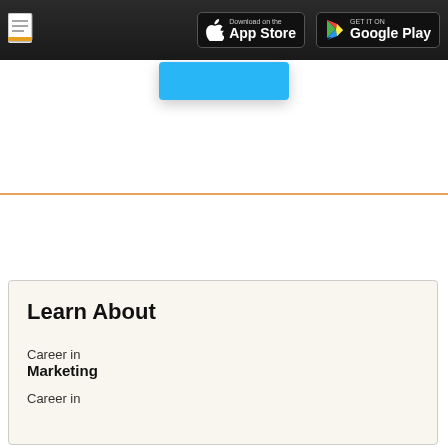App download header with App Store and Google Play buttons
[Figure (other): Blue button/banner element below header]
[Figure (other): Orange horizontal divider line]
Learn About
Career in
Marketing
Career in